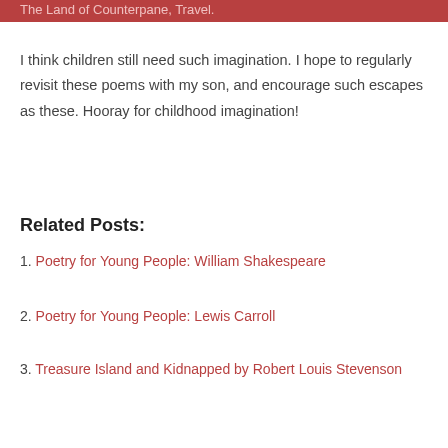The Land of Counterpane, Travel.
I think children still need such imagination. I hope to regularly revisit these poems with my son, and encourage such escapes as these. Hooray for childhood imagination!
Related Posts:
1. Poetry for Young People: William Shakespeare
2. Poetry for Young People: Lewis Carroll
3. Treasure Island and Kidnapped by Robert Louis Stevenson